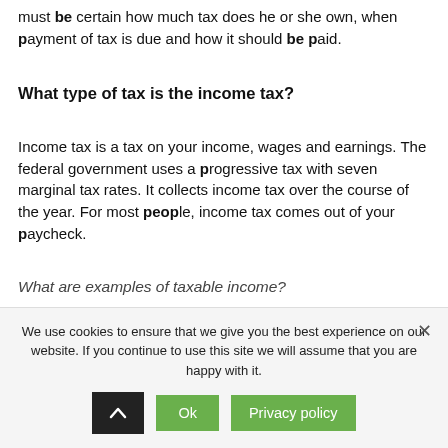must be certain how much tax does he or she own, when payment of tax is due and how it should be paid.
What type of tax is the income tax?
Income tax is a tax on your income, wages and earnings. The federal government uses a progressive tax with seven marginal tax rates. It collects income tax over the course of the year. For most people, income tax comes out of your paycheck.
What are examples of taxable income?
We use cookies to ensure that we give you the best experience on our website. If you continue to use this site we will assume that you are happy with it.